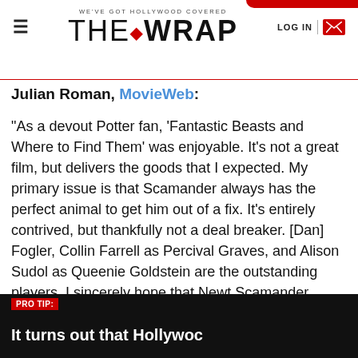WE'VE GOT HOLLYWOOD COVERED | THE WRAP | LOG IN
Julian Roman, MovieWeb:
“As a devout Potter fan, ‘Fantastic Beasts and Where to Find Them’ was enjoyable. It’s not a great film, but delivers the goods that I expected. My primary issue is that Scamander always has the perfect animal to get him out of a fix. It’s entirely contrived, but thankfully not a deal breaker. [Dan] Fogler, Collin Farrell as Percival Graves, and Alison Sudol as Queenie Goldstein are the outstanding players. I sincerely hope that Newt Scamander becomes more developed in the sequel. He does not have the charm
PRO TIP: It turns out that Hollywoc